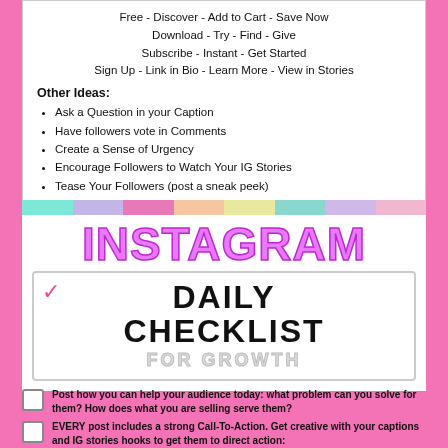Free - Discover - Add to Cart - Save Now
Download - Try - Find - Give
Subscribe - Instant - Get Started
Sign Up - Link in Bio - Learn More - View in Stories
Other Ideas:
Ask a Question in your Caption
Have followers vote in Comments
Create a Sense of Urgency
Encourage Followers to Watch Your IG Stories
Tease Your Followers (post a sneak peek)
INSTAGRAM HUB
DAILY CHECKLIST FOR GROWTH
Post how you can help your audience today: what problem can you solve for them? How does what you are selling serve them?
EVERY post includes a strong Call-To-Action. Get creative with your captions and IG stories hooks to get them to direct action: